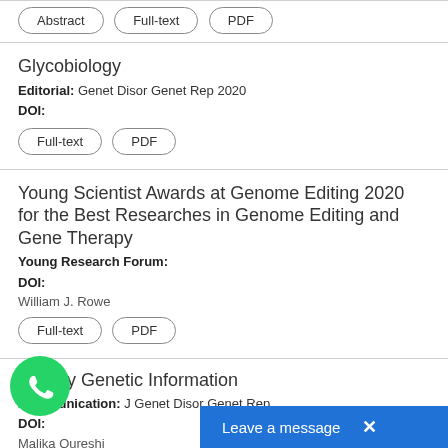Abstract  Full-text  PDF
Glycobiology
Editorial: Genet Disor Genet Rep 2020
DOI:
Full-text  PDF
Young Scientist Awards at Genome Editing 2020 for the Best Researches in Genome Editing and Gene Therapy
Young Research Forum:
DOI:
William J. Rowe
Full-text  PDF
itionary Genetic Information
Communication: J Genet Disor Genet Rep
DOI:
Malika Qureshi